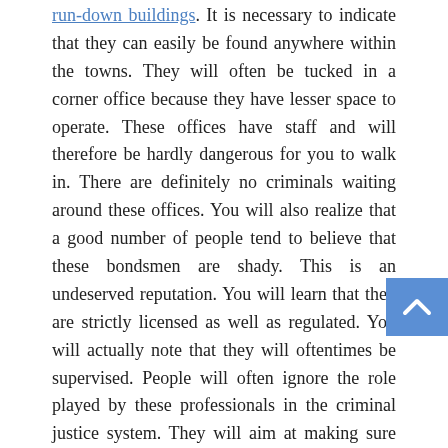run-down buildings. It is necessary to indicate that they can easily be found anywhere within the towns. They will often be tucked in a corner office because they have lesser space to operate. These offices have staff and will therefore be hardly dangerous for you to walk in. There are definitely no criminals waiting around these offices. You will also realize that a good number of people tend to believe that these bondsmen are shady. This is an undeserved reputation. You will learn that they are strictly licensed as well as regulated. You will actually note that they will oftentimes be supervised. People will often ignore the role played by these professionals in the criminal justice system. They will aim at making sure that you get out of prison soon.
There is a misunderstanding that one will hardly afford a bail or even end up losing everything. You will find that it will hardly cost you much to get a bail. There is actually a